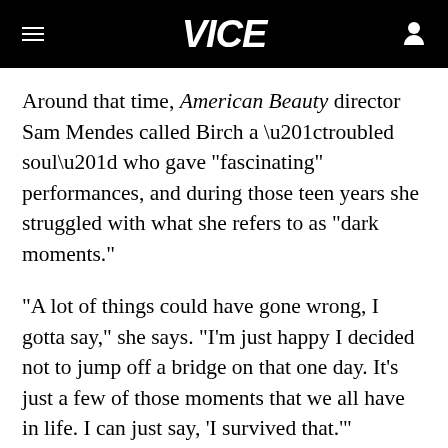VICE
Around that time, American Beauty director Sam Mendes called Birch a “troubled soul” who gave "fascinating" performances, and during those teen years she struggled with what she refers to as "dark moments."
"A lot of things could have gone wrong, I gotta say," she says. "I'm just happy I decided not to jump off a bridge on that one day. It's just a few of those moments that we all have in life. I can just say, 'I survived that.'"